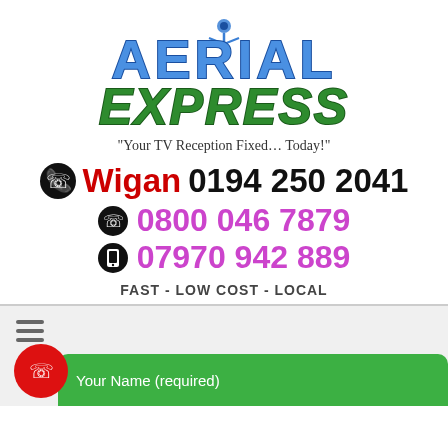[Figure (logo): Aerial Express logo with antenna icon, blue AERIAL text and green italic EXPRESS text]
"Your TV Reception Fixed... Today!"
Wigan 0194 250 2041
0800 046 7879
07970 942 889
FAST - LOW COST - LOCAL
[Figure (screenshot): Bottom navigation bar with hamburger menu icon, red phone call button, and green form bar with 'Your Name (required)' text]